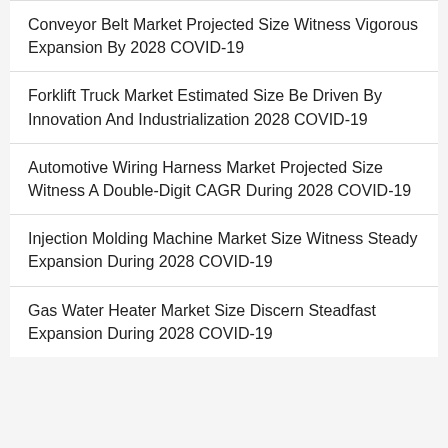Conveyor Belt Market Projected Size Witness Vigorous Expansion By 2028 COVID-19
Forklift Truck Market Estimated Size Be Driven By Innovation And Industrialization 2028 COVID-19
Automotive Wiring Harness Market Projected Size Witness A Double-Digit CAGR During 2028 COVID-19
Injection Molding Machine Market Size Witness Steady Expansion During 2028 COVID-19
Gas Water Heater Market Size Discern Steadfast Expansion During 2028 COVID-19